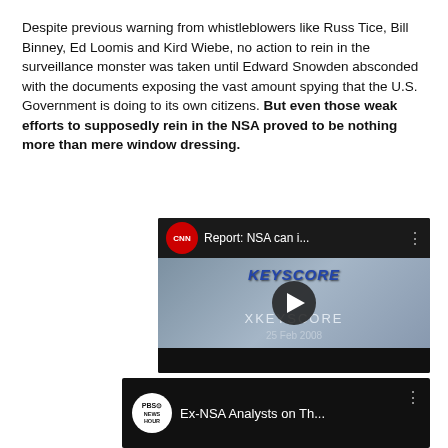Despite previous warning from whistleblowers like Russ Tice, Bill Binney, Ed Loomis and Kird Wiebe, no action to rein in the surveillance monster was taken until Edward Snowden absconded with the documents exposing the vast amount spying that the U.S. Government is doing to its own citizens. But even those weak efforts to supposedly rein in the NSA proved to be nothing more than mere window dressing.
[Figure (screenshot): CNN YouTube video thumbnail: 'Report: NSA can i...' showing XKEYSCORE program screenshot with play button, dated 25 Feb 2008]
[Figure (screenshot): PBS NewsHour YouTube video thumbnail: 'Ex-NSA Analysts on Th...' showing panel discussion with people at a news desk]